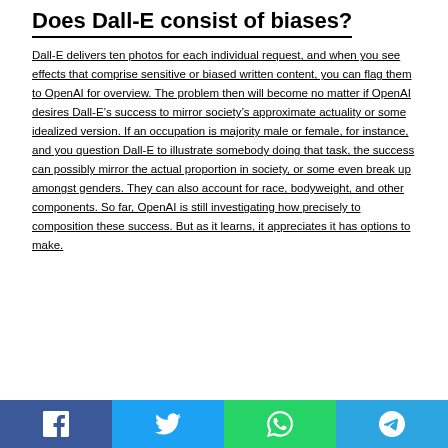Does Dall-E consist of biases?
Dall-E delivers ten photos for each individual request, and when you see effects that comprise sensitive or biased written content, you can flag them to OpenAI for overview. The problem then will become no matter if OpenAI desires Dall-E’s success to mirror society’s approximate actuality or some idealized version. If an occupation is majority male or female, for instance, and you question Dall-E to illustrate somebody doing that task, the success can possibly mirror the actual proportion in society, or some even break up amongst genders. They can also account for race, bodyweight, and other components. So far, OpenAI is still investigating how precisely to composition these success. But as it learns, it appreciates it has options to make.
[Figure (other): Social media share bar with Facebook, Twitter, WhatsApp, and Telegram buttons]